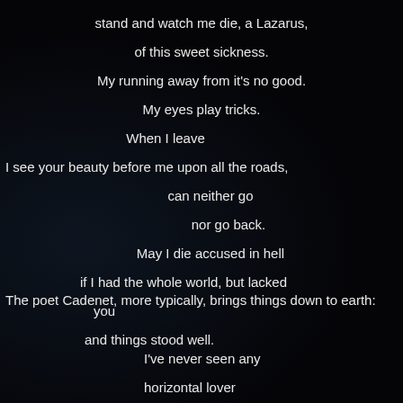stand and watch me die, a Lazarus,
    of this sweet sickness.
  My running away from it's no good.
      My eyes play tricks.
  When I leave
I see your beauty before me upon all the roads,

         can neither go
             nor go back.
       May I die accused in hell
  if I had the whole world, but lacked you

    and things stood well.
The poet Cadenet, more typically, brings things down to earth:
I've never seen any
horizontal lover
who liked dawn.